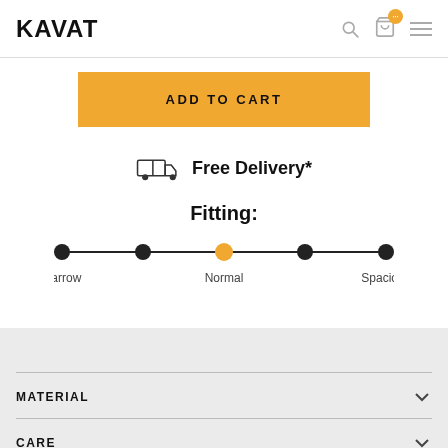KAVAT
ADD TO CART
Free Delivery*
Fitting:
Narrow | Normal | Spacious
MATERIAL
CARE